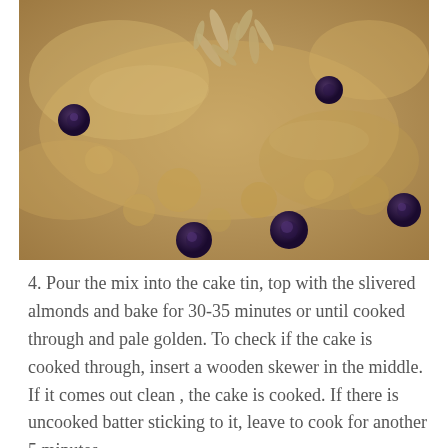[Figure (photo): Close-up photo of blueberry cake batter in a tin, topped with slivered almonds. The batter is golden-beige with dark blueberries and sliced almonds visible on top.]
4. Pour the mix into the cake tin, top with the slivered almonds and bake for 30-35 minutes or until cooked through and pale golden. To check if the cake is cooked through, insert a wooden skewer in the middle. If it comes out clean , the cake is cooked. If there is uncooked batter sticking to it, leave to cook for another 5 minutes.